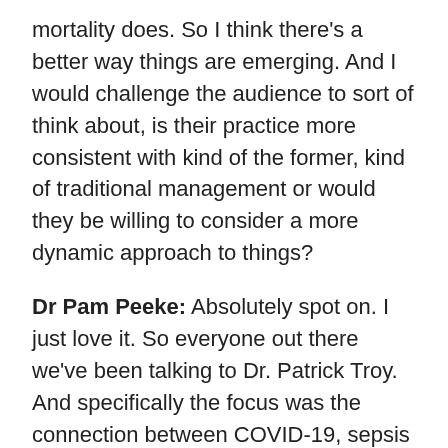mortality does. So I think there's a better way things are emerging. And I would challenge the audience to sort of think about, is their practice more consistent with kind of the former, kind of traditional management or would they be willing to consider a more dynamic approach to things?
Dr Pam Peeke: Absolutely spot on. I just love it. So everyone out there we've been talking to Dr. Patrick Troy. And specifically the focus was the connection between COVID-19, sepsis and fluid management. Dr. Troy, thank you so much for being on this podcast.
Dr Patrick Troy: My absolute pleasure. Thanks for having me.